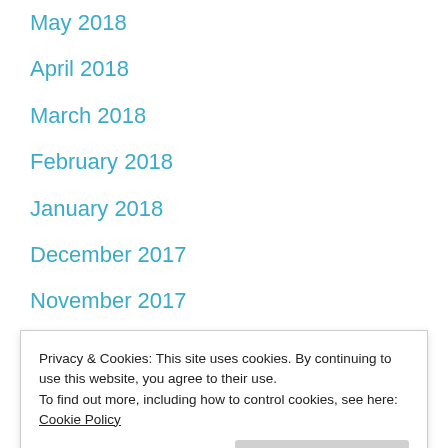May 2018
April 2018
March 2018
February 2018
January 2018
December 2017
November 2017
October 2017
September 2017
August 2017
Privacy & Cookies: This site uses cookies. By continuing to use this website, you agree to their use.
To find out more, including how to control cookies, see here: Cookie Policy
April 2017